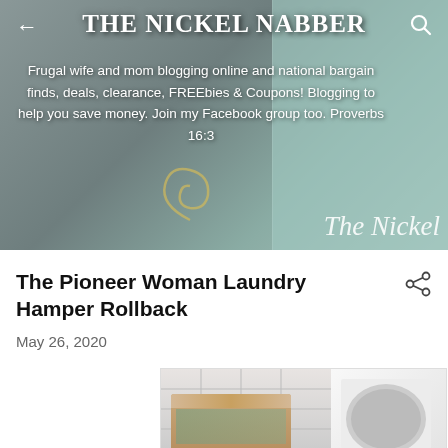THE NICKEL NABBER
Frugal wife and mom blogging online and national bargain finds, deals, clearance, FREEbies & Coupons! Blogging to help you save money. Join my Facebook group too. Proverbs 16:3
The Pioneer Woman Laundry Hamper Rollback
May 26, 2020
[Figure (photo): Product photo of a Pioneer Woman laundry hamper with floral design, shown in a laundry room setting next to a washer]